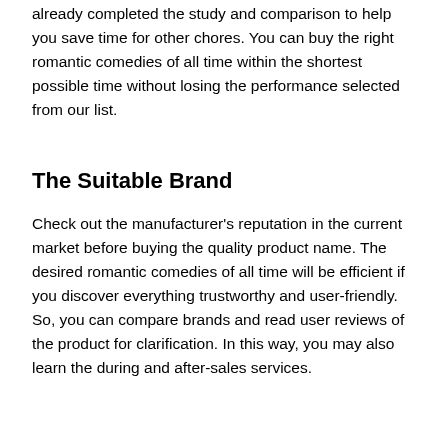already completed the study and comparison to help you save time for other chores. You can buy the right romantic comedies of all time within the shortest possible time without losing the performance selected from our list.
The Suitable Brand
Check out the manufacturer's reputation in the current market before buying the quality product name. The desired romantic comedies of all time will be efficient if you discover everything trustworthy and user-friendly. So, you can compare brands and read user reviews of the product for clarification. In this way, you may also learn the during and after-sales services.